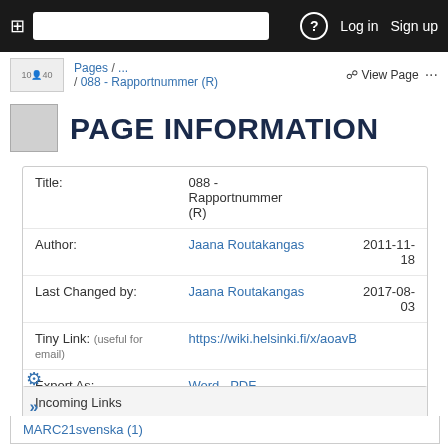Pages / ... / 088 - Rapportnummer (R) | View Page | Log in | Sign up
PAGE INFORMATION
| Field | Value | Date |
| --- | --- | --- |
| Title: | 088 - Rapportnummer (R) |  |
| Author: | Jaana Routakangas | 2011-11-18 |
| Last Changed by: | Jaana Routakangas | 2017-08-03 |
| Tiny Link: (useful for email) | https://wiki.helsinki.fi/x/aoavB |  |
| Export As: | Word · PDF |  |
Incoming Links
MARC21svenska (1)